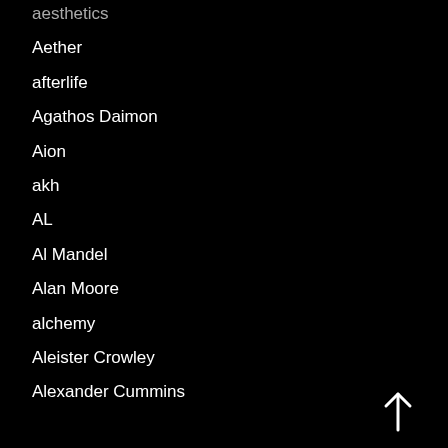aesthetics
Aether
afterlife
Agathos Daimon
Aion
akh
AL
Al Mandel
Alan Moore
alchemy
Aleister Crowley
Alexander Cummins